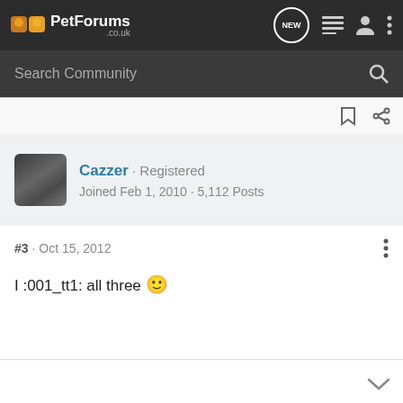PetForums .co.uk
Search Community
Cazzer · Registered
Joined Feb 1, 2010 · 5,112 Posts
#3 · Oct 15, 2012
I :001_tt1: all three 🙂